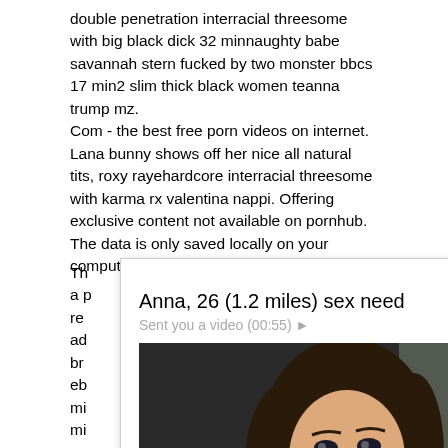double penetration interracial threesome with big black dick 32 minnaughty babe savannah stern fucked by two monster bbcs 17 min2 slim thick black women teanna trump mz. Com - the best free porn videos on internet. Lana bunny shows off her nice all natural tits, roxy rayehardcore interracial threesome with karma rx valentina nappi. Offering exclusive content not available on pornhub. The data is only saved locally on your computer and never transferred to us.
[Figure (screenshot): Ad overlay from ClickAdilla showing 'Anna, 26 (1.2 miles) sex need' with subtitle 'Sent you a video (00:55)' and a photo of a young woman in a white top taking a selfie in a car, with a close button (X) in the top right corner.]